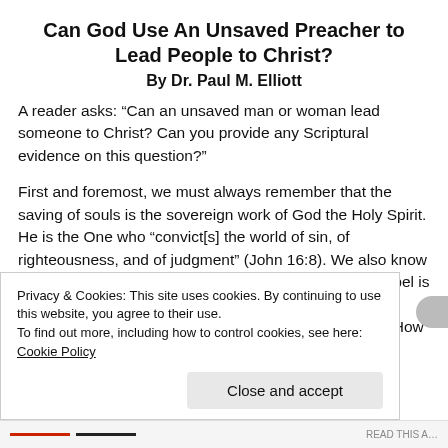Can God Use An Unsaved Preacher to Lead People to Christ?
By Dr. Paul M. Elliott
A reader asks: “Can an unsaved man or woman lead someone to Christ? Can you provide any Scriptural evidence on this question?”
First and foremost, we must always remember that the saving of souls is the sovereign work of God the Holy Spirit. He is the One who “convict[s] the world of sin, of righteousness, and of judgment” (John 16:8). We also know that God’s ordained means for communicating the Gospel is the preaching of His Word. “For whoever calls on the name of the Lord shall be saved/ How then
Privacy & Cookies: This site uses cookies. By continuing to use this website, you agree to their use.
To find out more, including how to control cookies, see here: Cookie Policy
Close and accept